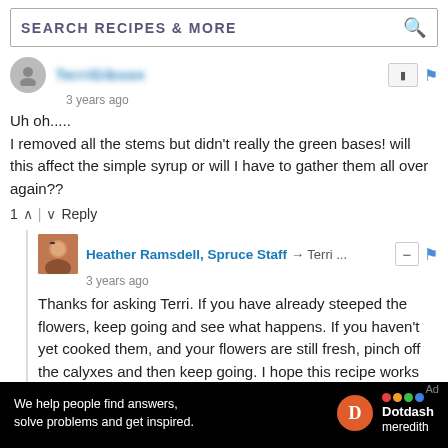SEARCH RECIPES & MORE
3 years ago
Uh oh.....
I removed all the stems but didn't really the green bases! will this affect the simple syrup or will I have to gather them all over again??
1 ∧ | ∨ Reply
Heather Ramsdell, Spruce Staff → Terri ... 3 years ago
Thanks for asking Terri. If you have already steeped the flowers, keep going and see what happens. If you haven't yet cooked them, and your flowers are still fresh, pinch off the calyxes and then keep going. I hope this recipe works well for you.
∧ | ∨ Reply
[Figure (screenshot): Dotdash Meredith advertisement banner: 'We help people find answers, solve problems and get inspired.' with D logo and colorful dots logo]
Ad